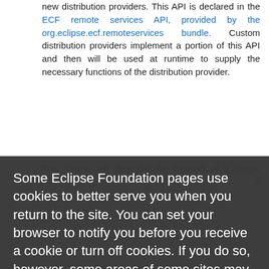new distribution providers. This API is declared in the ECF remote services API, provided by the org.eclipse.ecf.remoteservices bundle. Custom distribution providers implement a portion of this API and then will be used at runtime to supply the necessary functions of the distribution provider.
This tutorial will describe the creation of a simple...relevant...
IDs and Namespaces
ECF has the concept of a 'container' (IContainer), which an object instance that implements the remote services API and represents a network-accessible endpoint.
Containers have unique transport-specific IDs. Some examples of transport-specific container IDs.
Some Eclipse Foundation pages use cookies to better serve you when you return to the site. You can set your browser to notify you before you receive a cookie or turn off cookies. If you do so, however, some areas of some sites may not function properly. To read Eclipse Foundation Privacy Policy click here.
Decline
Allow cookies